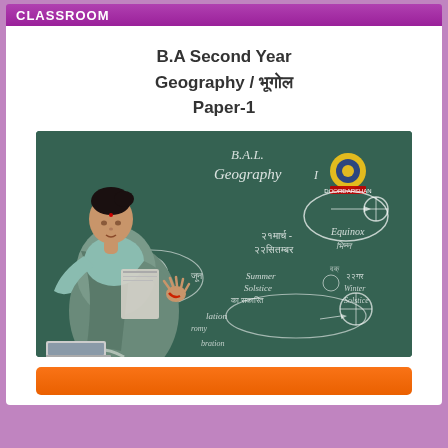CLASSROOM
B.A Second Year
Geography / भूगोल
Paper-1
[Figure (photo): A female teacher in a grey sari standing in front of a green chalkboard with Geography-related diagrams and Hindi/English text about equinox, solstice, and seasons. A Doordarshan logo is visible on the board.]